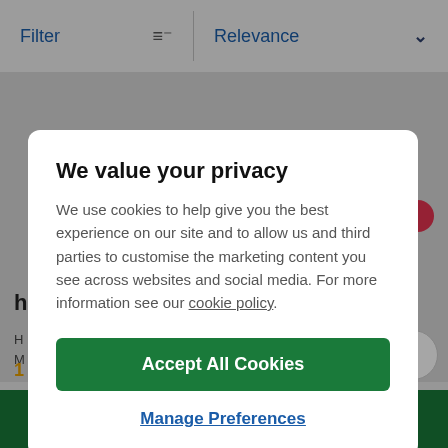Filter   Relevance
[Figure (screenshot): Background e-commerce product listing page with grey background, partially visible product card with bold letter 'h', text lines, price starting with £, two green 'Add to trolley' buttons at the bottom, and a scroll-to-top circle button]
We value your privacy
We use cookies to help give you the best experience on our site and to allow us and third parties to customise the marketing content you see across websites and social media. For more information see our cookie policy.
Accept All Cookies
Manage Preferences